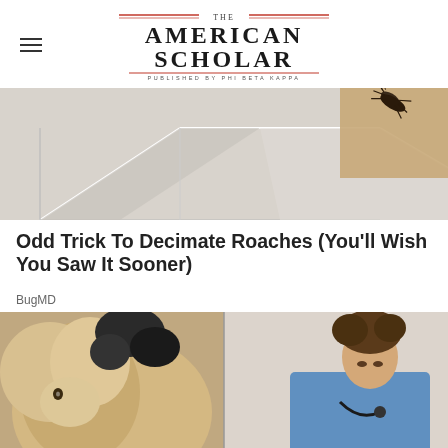THE AMERICAN SCHOLAR — PUBLISHED BY PHI BETA KAPPA
[Figure (photo): Illustration or stylized image related to cockroaches — geometric shapes in gray and beige tones with a cockroach visible in the upper right corner]
Odd Trick To Decimate Roaches (You'll Wish You Saw It Sooner)
BugMD
[Figure (photo): Split image: left side shows a fluffy dog with a dark animal (possibly a cat or crow) overhead; right side shows a man in a blue shirt with a stethoscope looking downward]